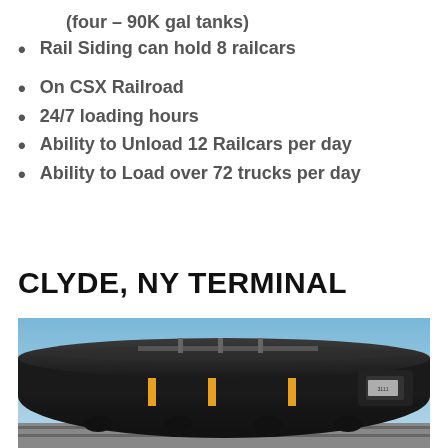(four – 90K gal tanks)
Rail Siding can hold 8 railcars
On CSX Railroad
24/7 loading hours
Ability to Unload 12 Railcars per day
Ability to Load over 72 trucks per day
CLYDE, NY TERMINAL
[Figure (photo): Photo of dark-colored railroad tank car with yellow markings under blue sky]